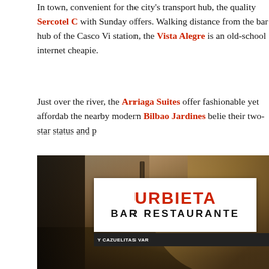In town, convenient for the city's transport hub, the quality Sercotel C with Sunday offers. Walking distance from the bar hub of the Casco Vi station, the Vista Alegre is an old-school internet cheapie.
Just over the river, the Arriaga Suites offer fashionable yet affordab the nearby modern Bilbao Jardines belie their two-star status and p
[Figure (photo): Photograph of the Urbieta Bar Restaurante sign in Bilbao, shot from below showing stone archway architecture. The white sign reads 'URBiETA BAR RESTAURANTE' with a dark bottom bar showing additional text including 'Y CAZUELITAS VAR'. The image is dark with warm stone tones in the background.]